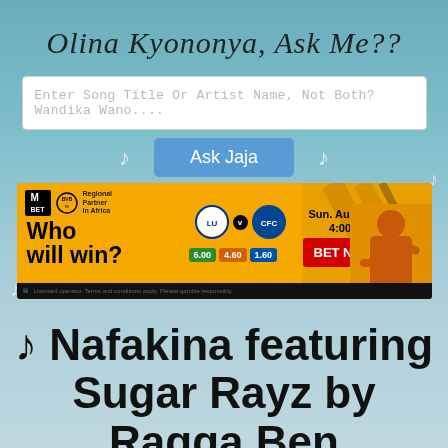Olina Kyononya, Ask Me??
Enter Song Title Or Artist Name, Not Both? Wandika Wano....
Ask Jaja
[Figure (photo): Sports betting advertisement banner: Mbet x BVB Dortmund Regional Partner in Africa. 'Who will win?' Leeds vs Chelsea. Sun. August 21 4:00PM. BET NOW button. Odds shown: 6.00, 4.60, 1.60.]
♪ Nafakina featuring Sugar Rayz by Ragga Ben